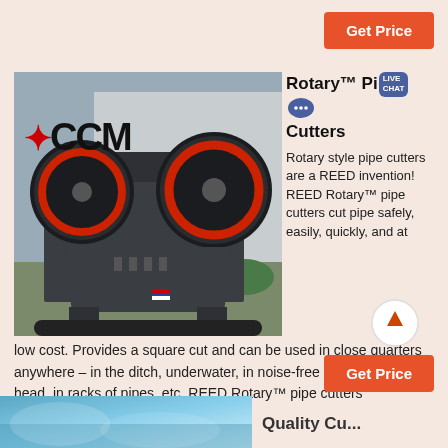Get Price
[Figure (photo): Industrial jaw crusher machine with CCM logo, large red flywheels, in an outdoor industrial setting]
Rotary™ Pipe Cutters
Rotary style pipe cutters are a REED invention! REED Rotary™ pipe cutters cut pipe safely, easily, quickly, and at low cost. Provides a square cut and can be used in close quarters anywhere – in the ditch, underwater, in noise-free zones, over head, in racks of pipes, etc. REED Rotary™ pipe cutters
Get Price
[Figure (photo): Partial bottom strip image, appears blue/aqua tinted industrial or product photo]